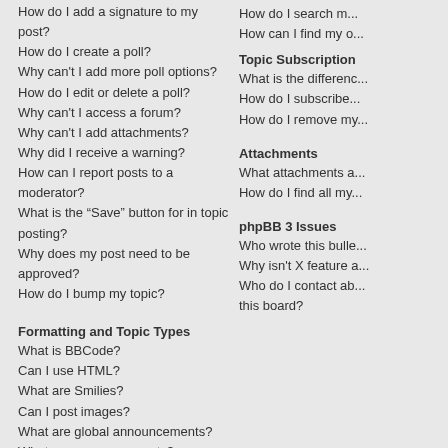How do I add a signature to my post?
How do I create a poll?
Why can't I add more poll options?
How do I edit or delete a poll?
Why can't I access a forum?
Why can't I add attachments?
Why did I receive a warning?
How can I report posts to a moderator?
What is the “Save” button for in topic posting?
Why does my post need to be approved?
How do I bump my topic?
Formatting and Topic Types
What is BBCode?
Can I use HTML?
What are Smilies?
Can I post images?
What are global announcements?
What are announcements?
What are sticky topics?
What are locked topics?
What are topic icons?
Topic Subscriptions
What is the difference…
How do I subscribe…
How do I remove my…
Attachments
What attachments a…
How do I find all my…
phpBB 3 Issues
Who wrote this bulle…
Why isn't X feature a…
Who do I contact ab… this board?
Login and Registration Issues
Why can't I login?
There are several reasons why this could occur. First, ensure your username…